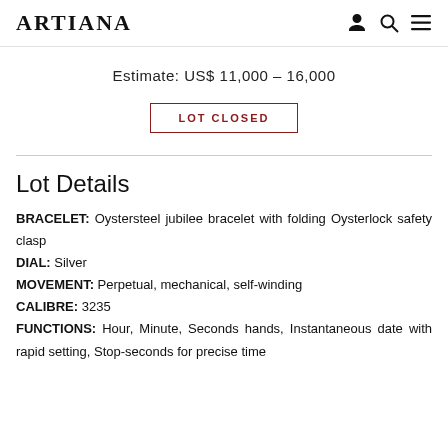ARTIANA
Estimate: US$ 11,000 – 16,000
LOT CLOSED
Lot Details
BRACELET: Oystersteel jubilee bracelet with folding Oysterlock safety clasp
DIAL: Silver
MOVEMENT: Perpetual, mechanical, self-winding
CALIBRE: 3235
FUNCTIONS: Hour, Minute, Seconds hands, Instantaneous date with rapid setting, Stop-seconds for precise time